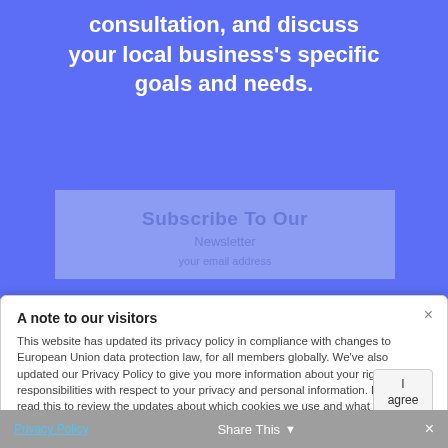consultation, and discuss your local business's specific goals and needs.
[Figure (infographic): Subscribe To Our Newsletter overlay with light blue background, partially visible behind modal]
A note to our visitors
This website has updated its privacy policy in compliance with changes to European Union data protection law, for all members globally. We've also updated our Privacy Policy to give you more information about your rights and responsibilities with respect to your privacy and personal information. Please read this to review the updates about which cookies we use and what information we collect on our site. By continuing to use this site, you are agreeing to our updated privacy policy.
I agree
Privacy Policy   Share This   ×